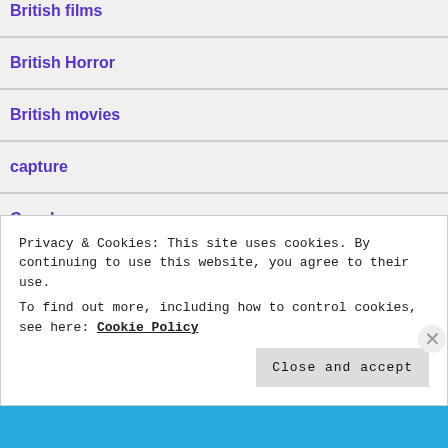British films
British Horror
British movies
capture
Car chase
Car movies
Privacy & Cookies: This site uses cookies. By continuing to use this website, you agree to their use.
To find out more, including how to control cookies, see here: Cookie Policy
Close and accept